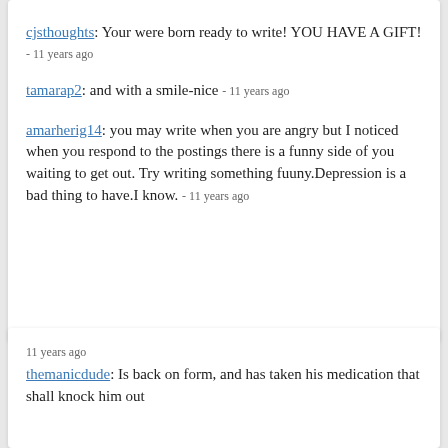cjsthoughts: Your were born ready to write! YOU HAVE A GIFT! - 11 years ago
tamarap2: and with a smile-nice - 11 years ago
amarherig14: you may write when you are angry but I noticed when you respond to the postings there is a funny side of you waiting to get out. Try writing something fuuny.Depression is a bad thing to have.I know. - 11 years ago
11 years ago
themanicdude: Is back on form, and has taken his medication that shall knock him out